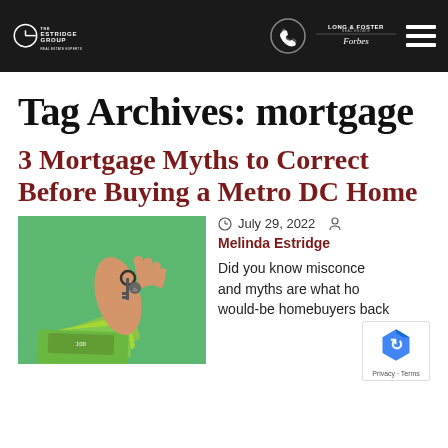The Estridge Group | Long & Foster Real Estate | Forbes
Tag Archives: mortgage
3 Mortgage Myths to Correct Before Buying a Metro DC Home
[Figure (photo): Hand holding house keys next to a stack of US dollar bills on a green background]
July 29, 2022
Melinda Estridge
Did you know misconceptions and myths are what hold would-be homebuyers back